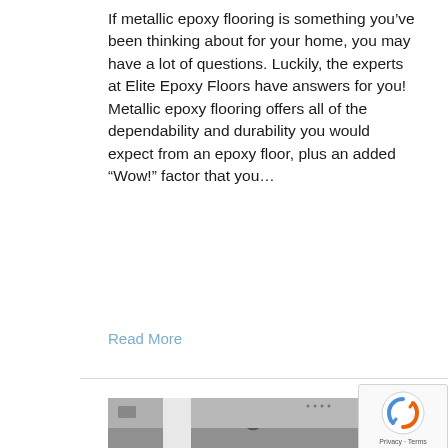If metallic epoxy flooring is something you’ve been thinking about for your home, you may have a lot of questions. Luckily, the experts at Elite Epoxy Floors have answers for you! Metallic epoxy flooring offers all of the dependability and durability you would expect from an epoxy floor, plus an added “Wow!” factor that you…
Read More
[Figure (photo): Photo of a garage or interior space with epoxy flooring, showing a white pillar and a bicycle wheel visible in the background]